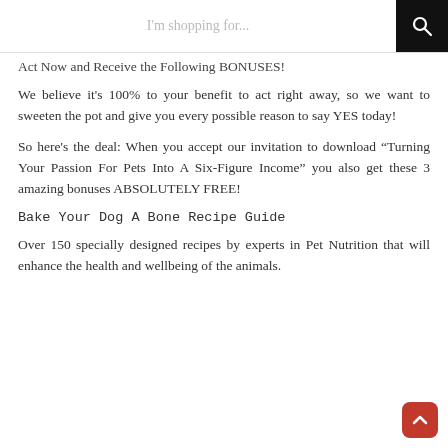I'm shopping for...
Act Now and Receive the Following BONUSES!
We believe it's 100% to your benefit to act right away, so we want to sweeten the pot and give you every possible reason to say YES today!
So here's the deal: When you accept our invitation to download “Turning Your Passion For Pets Into A Six-Figure Income” you also get these 3 amazing bonuses ABSOLUTELY FREE!
Bake Your Dog A Bone Recipe Guide
Over 150 specially designed recipes by experts in Pet Nutrition that will enhance the health and wellbeing of the animals.